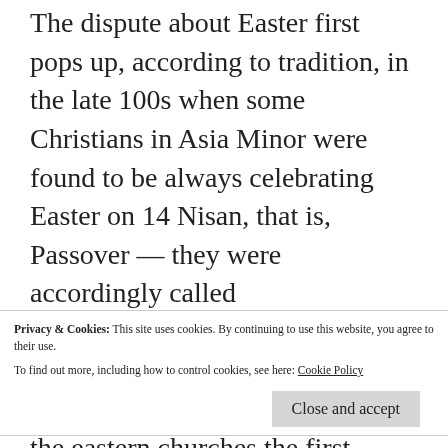The dispute about Easter first pops up, according to tradition, in the late 100s when some Christians in Asia Minor were found to be always celebrating Easter on 14 Nisan, that is, Passover — they were accordingly called Quartodecimans. Some people call the Roman episcopus Victor who sent the letter on this issue to the eastern churches the first 'Pope'. Whatever that's worth, Quartodecimans were not the end of such disputes, since calculating Easter is a bit tricky. Constantine, who very often tried to help the church find unity and
Privacy & Cookies: This site uses cookies. By continuing to use this website, you agree to their use. To find out more, including how to control cookies, see here: Cookie Policy
astronomy and stuff. This didn't stop Pope Leo I…